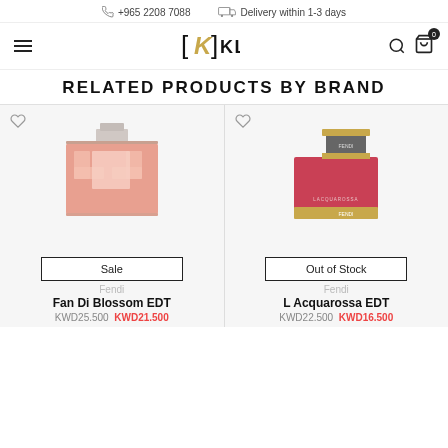+965 2208 7088  Delivery within 1-3 days
[Figure (logo): KLINQ brand logo with golden K letter and brackets]
RELATED PRODUCTS BY BRAND
[Figure (photo): Fendi Fan Di Blossom EDT perfume bottle - pink rectangular bottle with FF logo and silver cap]
Sale
Fendi
Fan Di Blossom EDT
KWD25.500  KWD21.500
[Figure (photo): Fendi L Acquarossa EDT perfume bottle - red rectangular bottle with gold base and grey/gold cap]
Out of Stock
Fendi
L Acquarossa EDT
KWD22.500  KWD16.500